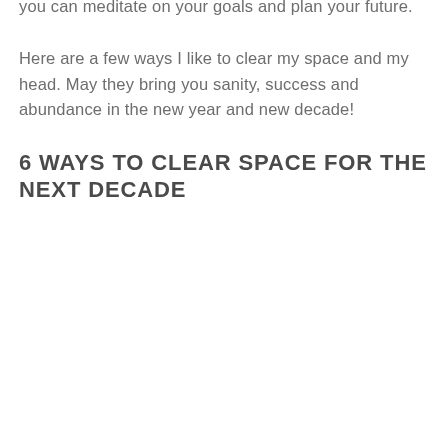transitioning to a clean energy economy. I'm going to reduce my CO2 output in every way I can. I will also continue to provide aesthetically stunning and peaceful environments for the wellbeing of my clients.
You can help yourself with this exercise by clearing your surroundings and creating a sacred space where you can meditate on your goals and plan your future.
Here are a few ways I like to clear my space and my head. May they bring you sanity, success and abundance in the new year and new decade!
6 WAYS TO CLEAR SPACE FOR THE NEXT DECADE